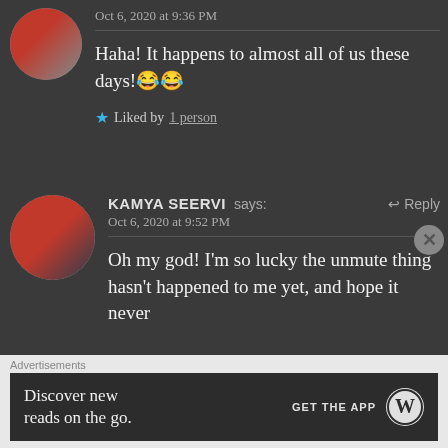Oct 6, 2020 at 9:36 PM
Haha! It happens to almost all of us these days!😂😂
★ Liked by 1 person
KAMYA SEERVI says: ↩ Reply
Oct 6, 2020 at 9:52 PM
Oh my god! I'm so lucky the unmute thing hasn't happened to me yet, and hope it never
Advertisements
Discover new reads on the go.
GET THE APP